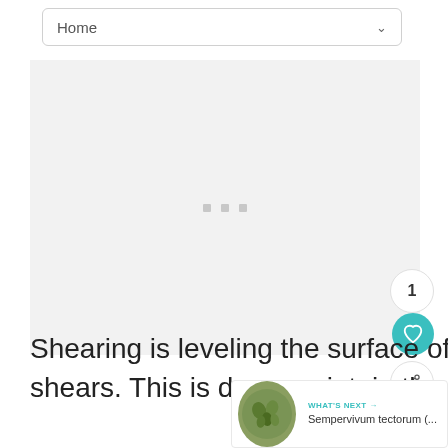Home
[Figure (other): Advertisement placeholder area with three small gray squares/dots centered in a light gray box]
Shearing is leveling the surface of a shrub using hand or electric shears. This is done maintain the desired shape of a hedge or topiary.
[Figure (photo): WHAT'S NEXT → Sempervivum tectorum (... with a circular thumbnail of a green succulent plant]